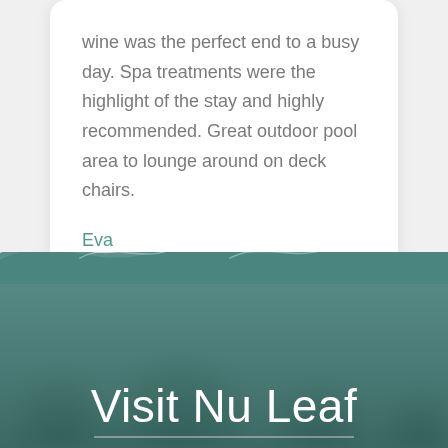wine was the perfect end to a busy day. Spa treatments were the highlight of the stay and highly recommended. Great outdoor pool area to lounge around on deck chairs.
Eva
[Figure (illustration): Teal/dark green wave illustration separating the white card section from the dark teal background section with blurred tree silhouettes]
Visit Nu Leaf